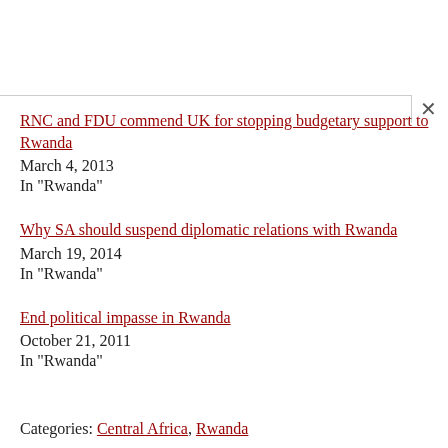RNC and FDU commend UK for stopping budgetary support to Rwanda
March 4, 2013
In "Rwanda"
Why SA should suspend diplomatic relations with Rwanda
March 19, 2014
In "Rwanda"
End political impasse in Rwanda
October 21, 2011
In "Rwanda"
Categories: Central Africa, Rwanda